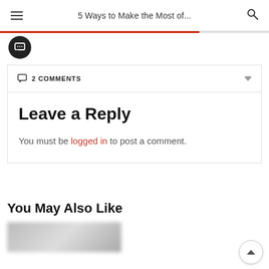5 Ways to Make the Most of...
2 COMMENTS
Leave a Reply
You must be logged in to post a comment.
You May Also Like